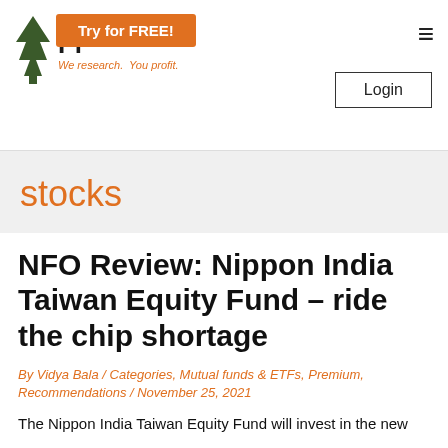Pr... We research. You profit. | Try for FREE! | Login
stocks
NFO Review: Nippon India Taiwan Equity Fund – ride the chip shortage
By Vidya Bala / Categories, Mutual funds & ETFs, Premium, Recommendations / November 25, 2021
The Nippon India Taiwan Equity Fund will invest in the new